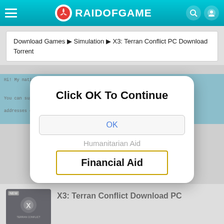RAIDOFGAME
Download Games ▶ Simulation ▶ X3: Terran Conflict PC Download Torrent
[Figure (screenshot): Website banner with yellow background showing text about native country, houses, humanitarian aid, clothes, parcel addresses]
[Figure (screenshot): Modal dialog popup with title 'Click OK To Continue', an OK button, 'Humanitarian Aid' placeholder text, and a 'Financial Aid' button]
X3: Terran Conflict Download PC
[Figure (photo): X3: Terran Conflict game cover art with NEW badge]